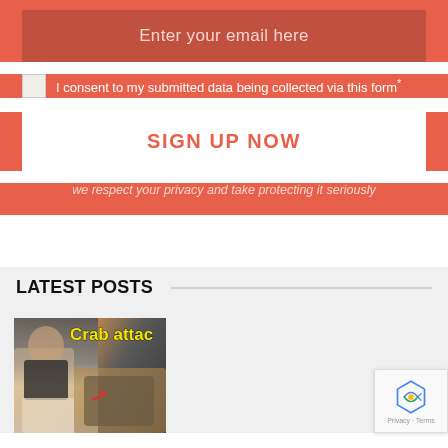Enter your email here
I consent to my submitted data being collected via this form*
SIGN UP NOW
we respect your privacy and take protecting it seriously
LATEST POSTS
[Figure (photo): Thumbnail image showing a woman crouching near a crab, with text overlay 'Crab attac' (truncated)]